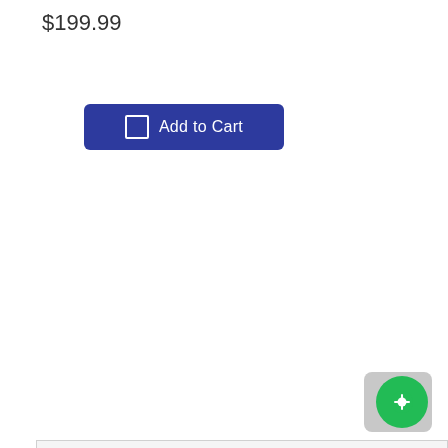$199.99
[Figure (other): Add to Cart button with shopping cart icon, dark blue background]
| OVERVIEW |
| SPECS |
| DOCUMENTS |
| REBATES |
| VIDEOS |
| DELIVERY |
[Figure (other): Green circular chat/support button overlaid on grey rounded rectangle background]